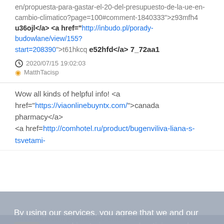en/propuesta-para-gastar-el-20-del-presupuesto-de-la-ue-en-cambio-climatico?page=100#comment-1840333">z93mfh4 u36ojl</a> <a href="http://inbudo.pl/porady-budowlane/view/155?start=208390">t61hkcq e52hfd</a> 7_72aa1
2020/07/15 19:02:03
MatthTacisp
Wow all kinds of helpful info! <a href="https://viaonlinebuyntx.com/">canada pharmacy</a> <a href="http://comhotel.ru/product/bugenviliva-liana-s-tsvetami-...
By using our services, you agree that we and our partners use cookies to improve advertising and enhance your experience on our services. Learn more
OK
rated canadian pharmacies online</a>